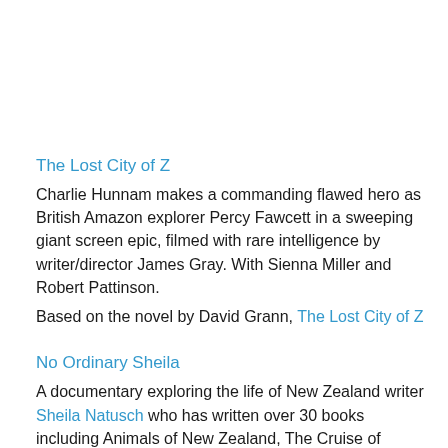The Lost City of Z
Charlie Hunnam makes a commanding flawed hero as British Amazon explorer Percy Fawcett in a sweeping giant screen epic, filmed with rare intelligence by writer/director James Gray. With Sienna Miller and Robert Pattinson.
Based on the novel by David Grann, The Lost City of Z
No Ordinary Sheila
A documentary exploring the life of New Zealand writer Sheila Natusch who has written over 30 books including Animals of New Zealand, The Cruise of Acheron, Hell and